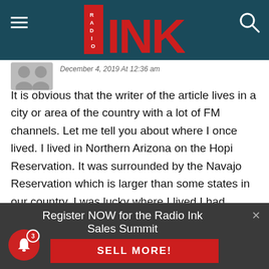Radio Ink
December 4, 2019 At 12:36 am
It is obvious that the writer of the article lives in a city or area of the country with a lot of FM channels. Let me tell you about where I once lived. I lived in Northern Arizona on the Hopi Reservation. It was surrounded by the Navajo Reservation which is larger than some states in our country. I was lucky where I lived I had access to 1 FM station but there were people who lived on the reservation who had zero FM stations. The Navajo Nation has an AM station that provides news, entertainment, and services to many people
Register NOW for the Radio Ink Sales Summit
SELL MORE!